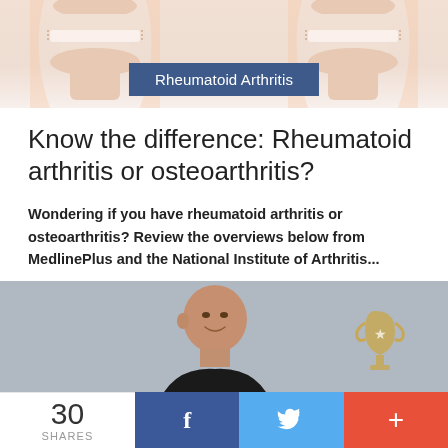[Figure (illustration): Medical illustration of a joint/knee anatomy shown at top of page with skin-tone and beige colors, with a dark blue badge overlay reading 'Rheumatoid Arthritis']
Know the difference: Rheumatoid arthritis or osteoarthritis?
Wondering if you have rheumatoid arthritis or osteoarthritis? Review the overviews below from MedlinePlus and the National Institute of Arthritis...
[Figure (photo): Photo of a smiling middle-aged man against a grey background, holding or standing near what appears to be an Emmy award trophy on the right side]
30 SHARES  [Facebook]  [Twitter]  [+]